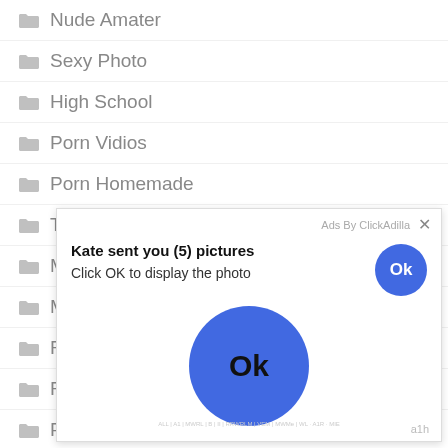Nude Amater
Sexy Photo
High School
Porn Vidios
Porn Homemade
Ta...
Mi...
Ma...
Fr...
Fi...
Pl...
Nude Scene
[Figure (screenshot): Ad overlay popup: 'Kate sent you (5) pictures / Click OK to display the photo' with Ok buttons (small top-right and large blue circle center), 'Ads By ClickAdilla' label, X close button, and footer text 'a1h']